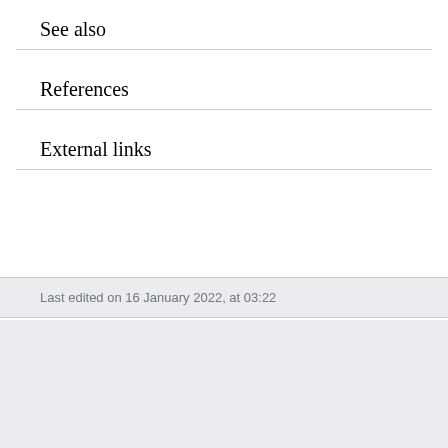See also
References
External links
Last edited on 16 January 2022, at 03:22